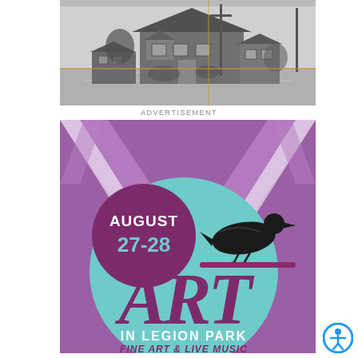[Figure (photo): Black and white historical photograph of a craftsman-style bungalow house with a street in the foreground, trees and utility poles visible]
ADVERTISEMENT
[Figure (infographic): Advertisement for Art in Legion Park event. Purple and teal background with chevron/arrow design. Features a crow/raven illustration. Text reads: AUGUST 27-28, ART IN LEGION PARK, FINE ART & LIVE MUSIC]